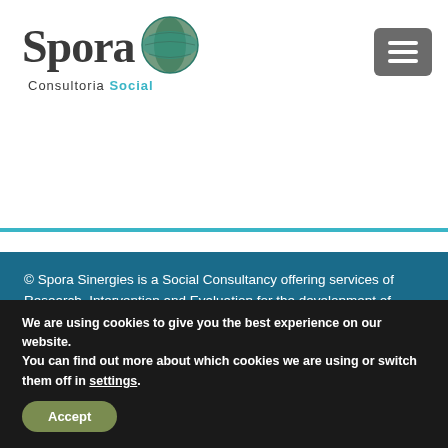[Figure (logo): Spora Consultoria Social logo with globe icon and teal/dark styling]
[Figure (other): Hamburger menu button (three horizontal white lines on grey background)]
© Spora Sinergies is a Social Consultancy offering services of Research, Intervention and Evaluation for the development of projects, programs and social policies
[Figure (logo): Unión Europea logo badge and orange/blue C logo badge]
We are using cookies to give you the best experience on our website.
You can find out more about which cookies we are using or switch them off in settings.
Accept